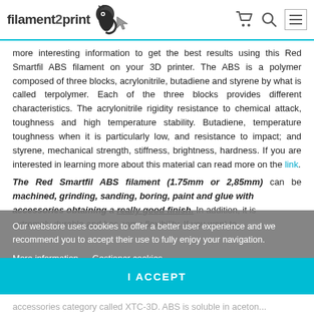filament2print [logo] [cart icon] [search icon] [menu icon]
more interesting information to get the best results using this Red Smartfil ABS filament on your 3D printer. The ABS is a polymer composed of three blocks, acrylonitrile, butadiene and styrene by what is called terpolymer. Each of the three blocks provides different characteristics. The acrylonitrile rigidity resistance to chemical attack, toughness and high temperature stability. Butadiene, temperature toughness when it is particularly low, and resistance to impact; and styrene, mechanical strength, stiffness, brightness, hardness. If you are interested in learning more about this material can read more on the link.
The Red Smartfil ABS filament (1.75mm or 2.85mm) can be machined, grinding, sanding, boring, paint and glue with accessories obtaining a really good finish. In addition, it is extremely durable and has some flexibility. If you want to
Our webstore uses cookies to offer a better user experience and we recommend you to accept their use to fully enjoy your navigation. More information   Gestionar cookies
I ACCEPT
accessories category called XTC-3D. ABS is soluble in aceton...